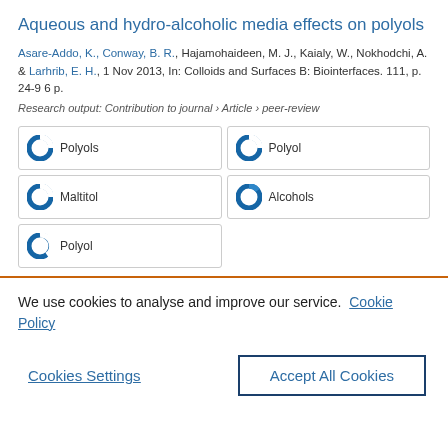Aqueous and hydro-alcoholic media effects on polyols
Asare-Addo, K., Conway, B. R., Hajamohaideen, M. J., Kaialy, W., Nokhodchi, A. & Larhrib, E. H., 1 Nov 2013, In: Colloids and Surfaces B: Biointerfaces. 111, p. 24-9 6 p.
Research output: Contribution to journal › Article › peer-review
Polyols
Polyol
Maltitol
Alcohols
Polyol
We use cookies to analyse and improve our service. Cookie Policy
Cookies Settings
Accept All Cookies